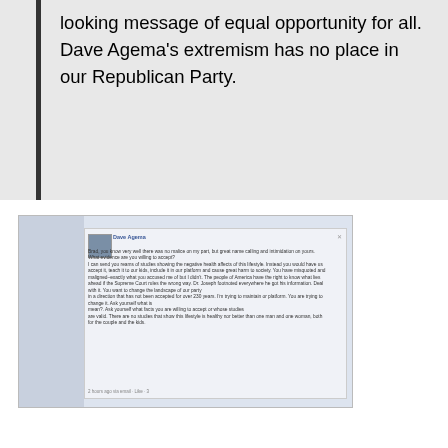looking message of equal opportunity for all. Dave Agema's extremism has no place in our Republican Party.
[Figure (screenshot): Screenshot of a Facebook post by Dave Agema responding to Brad, discussing studies about lifestyle health effects, referencing a Supreme Court ruling, and stating there are no studies showing the lifestyle is healthier than one man and one woman. Posted 2 hours ago via email. 3 likes.]